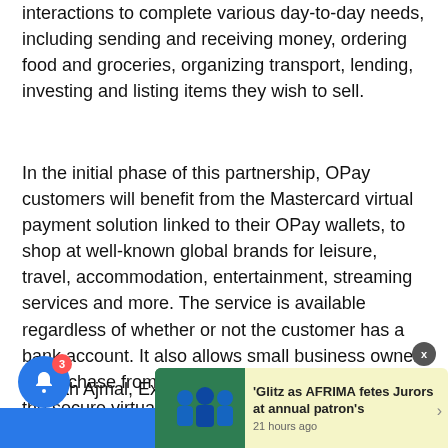interactions to complete various day-to-day needs, including sending and receiving money, ordering food and groceries, organizing transport, lending, investing and listing items they wish to sell.
In the initial phase of this partnership, OPay customers will benefit from the Mastercard virtual payment solution linked to their OPay wallets, to shop at well-known global brands for leisure, travel, accommodation, entertainment, streaming services and more. The service is available regardless of whether or not the customer has a bank account. It also allows small business owners to purchase from suppliers abroad and pay with the secure virtual payment solution.
Amnah Ajmal, Executive Vice President for Market